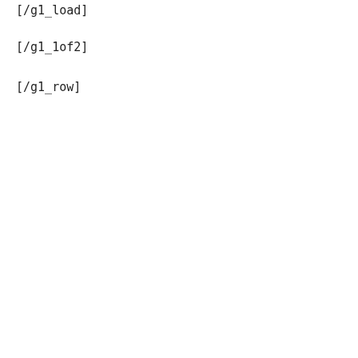[/g1_load]
[/g1_1of2]
[/g1_row]